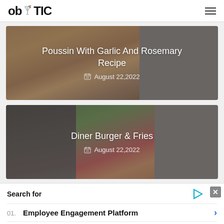obYTIC
[Figure (photo): Article card with food photo background - Poussin with garlic and rosemary dish]
Poussin With Garlic And Rosemary Recipe
August 22,2022
[Figure (photo): Article card with burger and fries food photo, cutlery visible]
Diner Burger & Fries
August 22,2022
Search for
01. Employee Engagement Platform
02. HVAC Programs Cost Online
Yahoo! Search | Sponsored